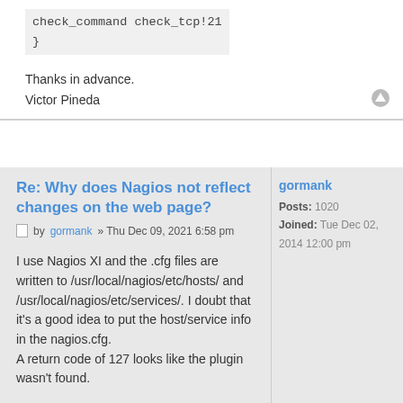check_command check_tcp!21
}
Thanks in advance.
Victor Pineda
Re: Why does Nagios not reflect changes on the web page?
by gormank » Thu Dec 09, 2021 6:58 pm
gormank
Posts: 1020
Joined: Tue Dec 02, 2014 12:00 pm
I use Nagios XI and the .cfg files are written to /usr/local/nagios/etc/hosts/ and /usr/local/nagios/etc/services/. I doubt that it's a good idea to put the host/service info in the nagios.cfg.
A return code of 127 looks like the plugin wasn't found.
It looks like there are two check commands defined for the sample host, which might be an